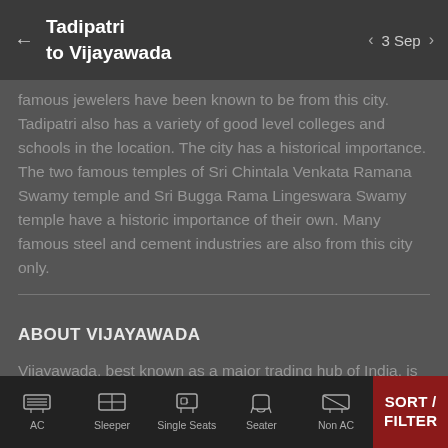Tadipatri to Vijayawada | 3 Sep
famous jewelers have been known to be from this city. Tadipatri also has a variety of good level colleges and schools in the location. The city has a historical importance. The two famous temples of Sri Chintala Venkata Ramana Swamy temple and Sri Bugga Rama Lingeswara Swamy temple have a historic importance of their own. Many famous steel and cement industries are also from this city only.
ABOUT VIJAYAWADA
Vijayawada, best known as a major trading hub of India, is the third largest city of Andhra Pradesh. The city is bounded by Budameru River and Indrakiladri Hills. The face of the city is slowing changing with its tremendous growth in every aspect and modern lifestyle. The Andhra
AC | Sleeper | Single Seats | Seater | Non AC | SORT / FILTER